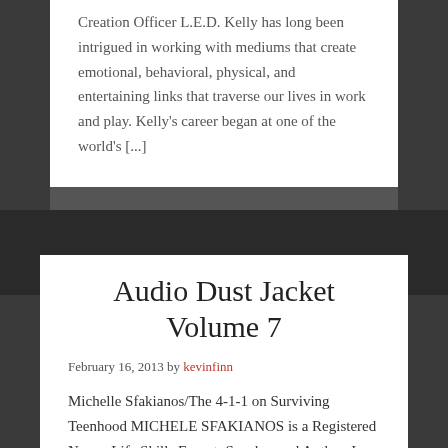Creation Officer L.E.D. Kelly has long been intrigued in working with mediums that create emotional, behavioral, physical, and entertaining links that traverse our lives in work and play. Kelly's career began at one of the world's [...]
Audio Dust Jacket Volume 7
February 16, 2013 by kevinfinn
Michelle Sfakianos/The 4-1-1 on Surviving Teenhood MICHELE SFAKIANOS is a Registered Nurse, Life Skills Expert, Speaker and Author. In